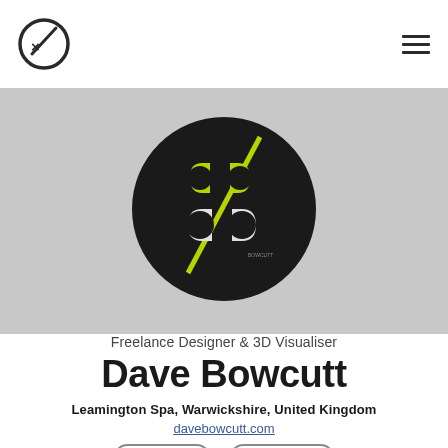[Figure (logo): Circular dark logo with stylized 'db' monogram in white and yellow-green with a diagonal yellow-green slash, on a dark background circle]
Freelance Designer & 3D Visualiser
Dave Bowcutt
Leamington Spa, Warwickshire, United Kingdom
davebowcutt.com
Follow   Contact